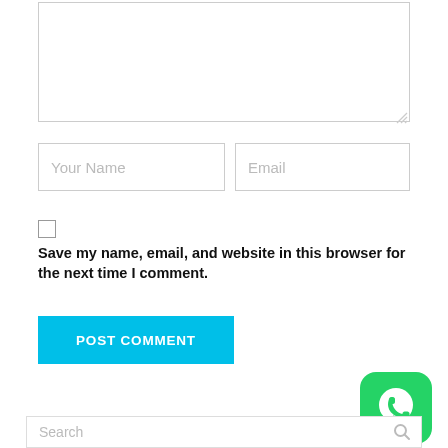[Figure (screenshot): A web comment form with a large textarea at top (partially visible, cut off), two input fields for 'Your Name' and 'Email', a checkbox with label 'Save my name, email, and website in this browser for the next time I comment.', a cyan 'POST COMMENT' button, a WhatsApp floating icon, and a Search bar at the bottom.]
Your Name
Email
Save my name, email, and website in this browser for the next time I comment.
POST COMMENT
Search